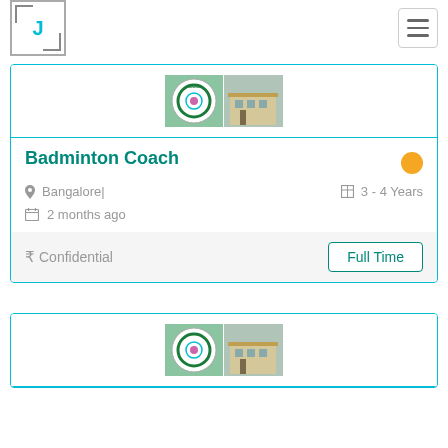[Figure (logo): J logo with bracket styling in teal color]
[Figure (photo): Institution image showing circular emblem and building exterior]
Badminton Coach
Bangalore|
3 - 4 Years
2 months ago
Confidential
Full Time
[Figure (photo): Institution image showing circular emblem and building exterior (second card, partial)]